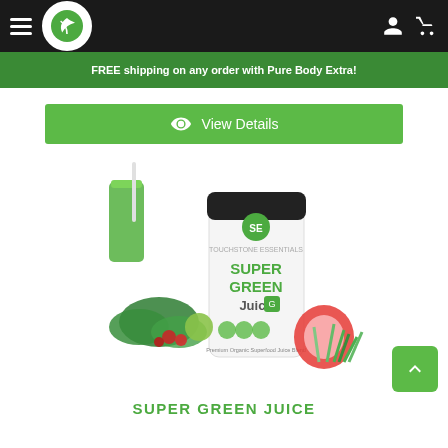[Figure (screenshot): Website navigation bar with hamburger menu, circular leaf logo on dark background, and user/cart icons]
FREE shipping on any order with Pure Body Extra!
View Details
[Figure (photo): Super Green Juice product container with green juice glass, kale, raspberries, apple, and wheatgrass]
SUPER GREEN JUICE